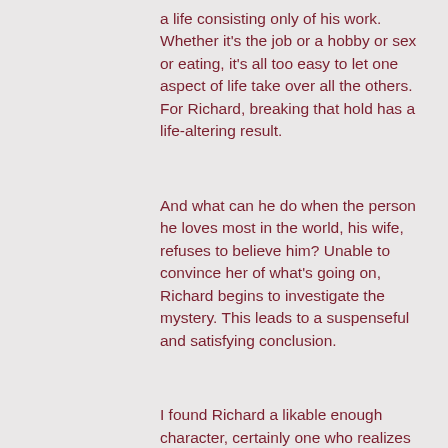a life consisting only of his work. Whether it's the job or a hobby or sex or eating, it's all too easy to let one aspect of life take over all the others. For Richard, breaking that hold has a life-altering result.
And what can he do when the person he loves most in the world, his wife, refuses to believe him? Unable to convince her of what's going on, Richard begins to investigate the mystery. This leads to a suspenseful and satisfying conclusion.
I found Richard a likable enough character, certainly one who realizes he's made mistakes in his life and wants to